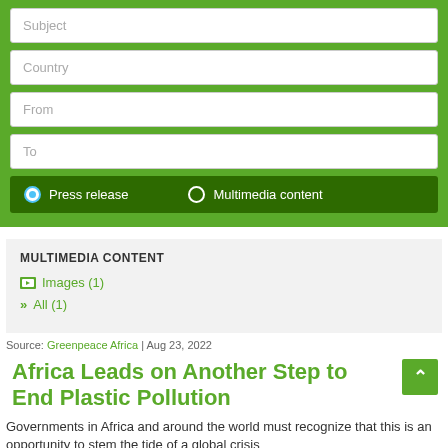[Figure (screenshot): Web form with fields for Subject, Country, From, To, and radio buttons for Press release and Multimedia content on a green background]
MULTIMEDIA CONTENT
Images (1)
» All (1)
Source: Greenpeace Africa | Aug 23, 2022
Africa Leads on Another Step to End Plastic Pollution
Governments in Africa and around the world must recognize that this is an opportunity to stem the tide of a global crisis